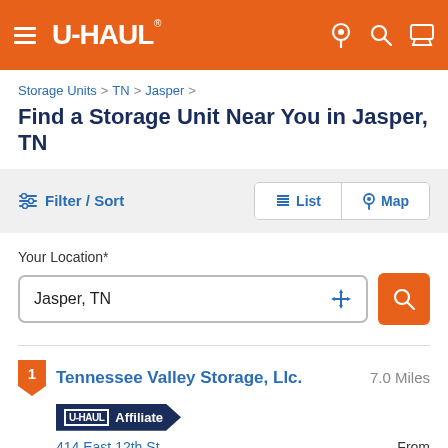U-HAUL
Storage Units > TN > Jasper >
Find a Storage Unit Near You in Jasper, TN
Filter / Sort  ≡ List  ⊙ Map
Your Location*
Jasper, TN
1 Tennessee Valley Storage, Llc.  7.0 Miles
U-HAUL Affiliate
414 East 12th St  From
South Pittsburg, TN 37380